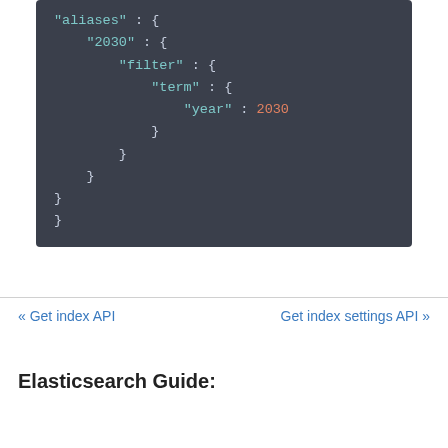[Figure (screenshot): Code block on dark background showing JSON with aliases, 2030, filter, term, year: 2030 fields with closing braces]
« Get index API    Get index settings API »
Elasticsearch Guide: